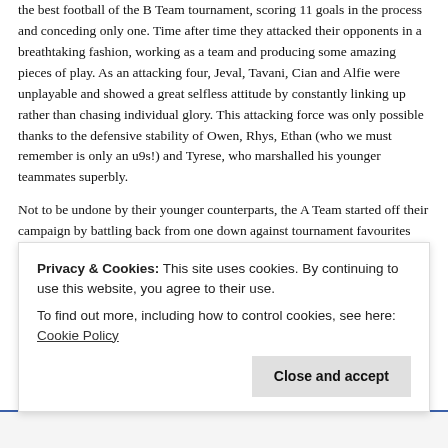the best football of the B Team tournament, scoring 11 goals in the process and conceding only one. Time after time they attacked their opponents in a breathtaking fashion, working as a team and producing some amazing pieces of play. As an attacking four, Jeval, Tavani, Cian and Alfie were unplayable and showed a great selfless attitude by constantly linking up rather than chasing individual glory. This attacking force was only possible thanks to the defensive stability of Owen, Rhys, Ethan (who we must remember is only an u9s!) and Tyrese, who marshalled his younger teammates superbly.
Not to be undone by their younger counterparts, the A Team started off their campaign by battling back from one down against tournament favourites South Birmingham to claim an amazing 2-1 victory. After a sluggish opening half, the lads snapped into life immediately after conceded and equalised via midfield dynamo Aidan. Then with a couple of
Privacy & Cookies: This site uses cookies. By continuing to use this website, you agree to their use.
To find out more, including how to control cookies, see here: Cookie Policy
Close and accept